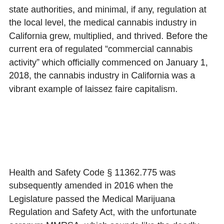state authorities, and minimal, if any, regulation at the local level, the medical cannabis industry in California grew, multiplied, and thrived. Before the current era of regulated “commercial cannabis activity” which officially commenced on January 1, 2018, the cannabis industry in California was a vibrant example of laissez faire capitalism.
Health and Safety Code § 11362.775 was subsequently amended in 2016 when the Legislature passed the Medical Marijuana Regulation and Safety Act, with the unfortunate acronym MMRSA, which sounds like the deadly superbug Methicillin-resistant Staphylococcus aureus. MMRSA introduced a convoluted regulatory framework for medical cannabis which did not allow cultivators direct access to consumers; all transactions were to be mediated by licensed distributors.
In order to force medical cannabis operators into the regulated system, an expiration date was put on